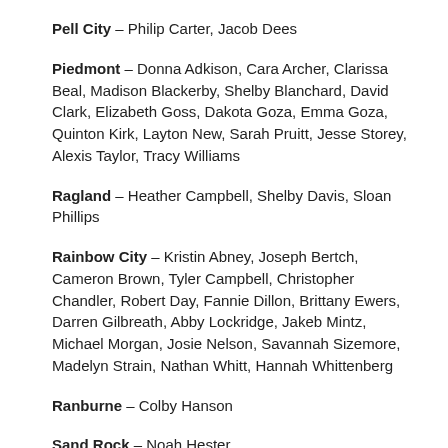Pell City – Philip Carter, Jacob Dees
Piedmont – Donna Adkison, Cara Archer, Clarissa Beal, Madison Blackerby, Shelby Blanchard, David Clark, Elizabeth Goss, Dakota Goza, Emma Goza, Quinton Kirk, Layton New, Sarah Pruitt, Jesse Storey, Alexis Taylor, Tracy Williams
Ragland – Heather Campbell, Shelby Davis, Sloan Phillips
Rainbow City – Kristin Abney, Joseph Bertch, Cameron Brown, Tyler Campbell, Christopher Chandler, Robert Day, Fannie Dillon, Brittany Ewers, Darren Gilbreath, Abby Lockridge, Jakeb Mintz, Michael Morgan, Josie Nelson, Savannah Sizemore, Madelyn Strain, Nathan Whitt, Hannah Whittenberg
Ranburne – Colby Hanson
Sand Rock – Noah Hester
Southside – Lily Anderson, Lindsey Bailey, Hunter Bellamy,